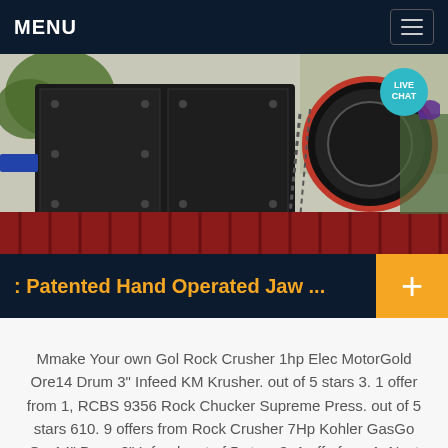MENU
[Figure (photo): Industrial jaw crusher machine on red metal frame, photographed outdoors. Heavy black metal equipment with circular opening and bolted plates visible.]
: Patented Hand Operated Jaw ...
Mmake Your own Gol Rock Crusher 1hp Elec MotorGold Ore14 Drum 3" Infeed KM Krusher. out of 5 stars 3. 1 offer from 1, RCBS 9356 Rock Chucker Supreme Press. out of 5 stars 610. 9 offers from Rock Crusher 7Hp Kohler GasGo Ore14" Drum 3" Infeed. out of 5 stars 3. 1 offe from 1. Next page. Customers who bought this